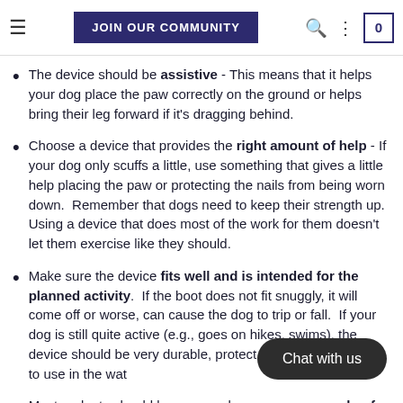JOIN OUR COMMUNITY
The device should be assistive - This means that it helps your dog place the paw correctly on the ground or helps bring their leg forward if it's dragging behind.
Choose a device that provides the right amount of help - If your dog only scuffs a little, use something that gives a little help placing the paw or protecting the nails from being worn down. Remember that dogs need to keep their strength up. Using a device that does most of the work for them doesn't let them exercise like they should.
Make sure the device fits well and is intended for the planned activity. If the boot does not fit snuggly, it will come off or worse, can cause the dog to trip or fall. If your dog is still quite active (e.g., goes on hikes, swims), the device should be very durable, protect the paws, and be ok to use in the wat
Most gadgets should be removed ur dog for a walk. Some devices can be worn for longer but check the manufacturer's recommendations. All